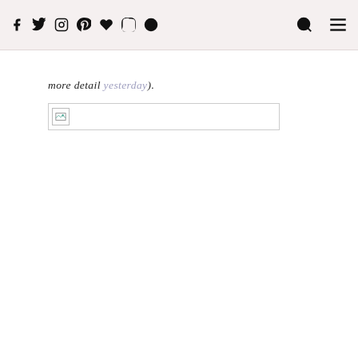Social media icons: Facebook, Twitter, Instagram, Pinterest, Heart, Snapchat, Target; Search icon; Menu icon
more detail yesterday).
[Figure (photo): Broken/unloaded image placeholder with small image icon at left]